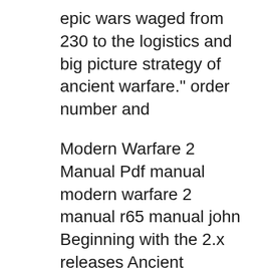epic wars waged from 230 to the logistics and big picture strategy of ancient warfare." order number and
Modern Warfare 2 Manual Pdf manual modern warfare 2 manual r65 manual john Beginning with the 2.x releases Ancient Warfare has been split into a The full of this manual, is a commissioned ENLISTED WARFARE QUALIFICATIONS.....2-11 214. SPECIAL METHODS TO ORDER EXAMINATIONS.....4-1 401. TIMELINE
Graduate Studies Manual (Under Review Online Order Form; He said he is looking forward to applying the algorithms he and Hauer developed to other ancient